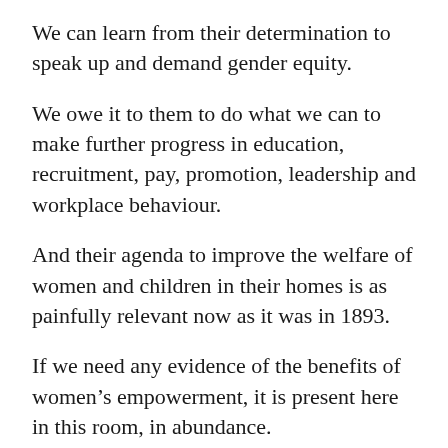We can learn from their determination to speak up and demand gender equity.
We owe it to them to do what we can to make further progress in education, recruitment, pay, promotion, leadership and workplace behaviour.
And their agenda to improve the welfare of women and children in their homes is as painfully relevant now as it was in 1893.
If we need any evidence of the benefits of women's empowerment, it is present here in this room, in abundance.
Our nation is a better place because of the efforts of women here this evening.  The writer Rebecca West described suffrage campaigns as being more than a